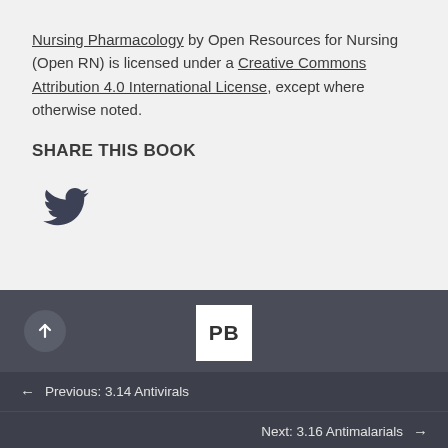Nursing Pharmacology by Open Resources for Nursing (Open RN) is licensed under a Creative Commons Attribution 4.0 International License, except where otherwise noted.
SHARE THIS BOOK
[Figure (logo): Twitter bird icon]
[Figure (logo): Up arrow button (circular, dark gray) and PB logo (white square with bold PB text) in dark footer bar]
← Previous: 3.14 Antivirals   Next: 3.16 Antimalarials →